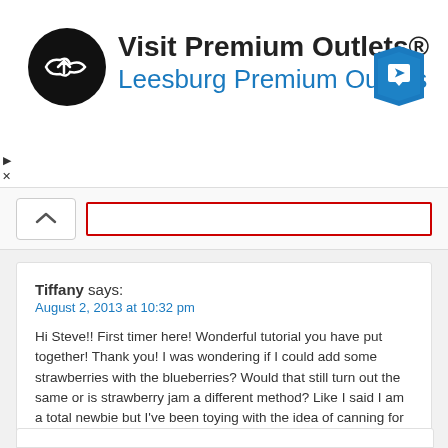[Figure (other): Advertisement banner for Visit Premium Outlets® Leesburg Premium Outlets with logo and map icon]
Tiffany says:
August 2, 2013 at 10:32 pm
Hi Steve!! First timer here! Wonderful tutorial you have put together! Thank you! I was wondering if I could add some strawberries with the blueberries? Would that still turn out the same or is strawberry jam a different method? Like I said I am a total newbie but I've been toying with the idea of canning for a while. I absolutely love giving homemade gifts for occasions and jams would be perfect! Another question, I don't have all the tools required but I think I can manage with what I have for now. Can I just put the jars right in the pot without a rack?
Thank you again! Take care 🙂
reply